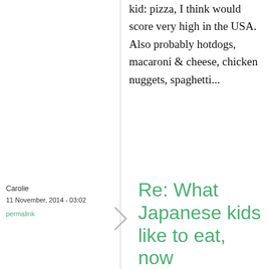kid: pizza, I think would score very high in the USA. Also probably hotdogs, macaroni & cheese, chicken nuggets, spaghetti...
Carolie
11 November, 2014 - 03:02
permalink
Re: What Japanese kids like to eat, now